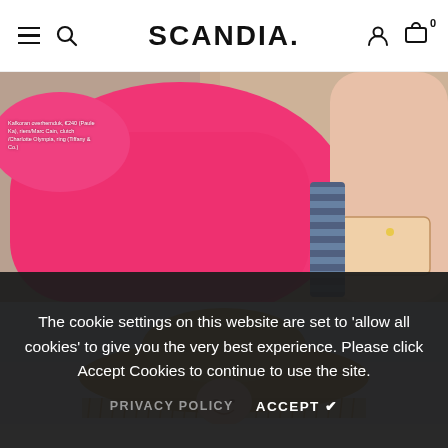SCANDIA.
[Figure (photo): Woman wearing a bright pink/fuchsia dress, holding a decorative clutch bag, leaning against a stone wall. Small white caption text overlay on left side.]
Kafkoran overhemduk, €240 (Paule Ka), riem/Marc Cain, clutch /Charlotte Olympia, ring (Tiffany & Co.)
[Figure (photo): Woman smiling and wearing a large wide-brimmed straw hat with fringe, photographed from below against a light sky background.]
The cookie settings on this website are set to 'allow all cookies' to give you the very best experience. Please click Accept Cookies to continue to use the site.
PRIVACY POLICY   ACCEPT ✔